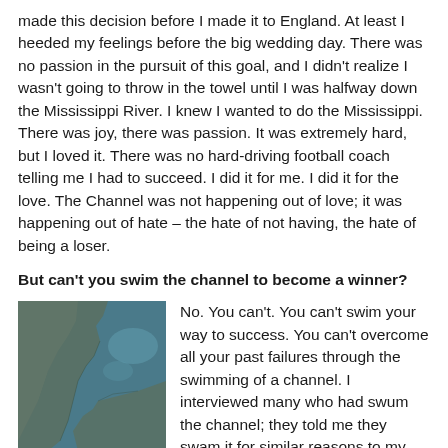made this decision before I made it to England.  At least I heeded my feelings before the big wedding day.  There was no passion in the pursuit of this goal, and I didn't realize I wasn't going to throw in the towel until I was halfway down the Mississippi River.  I knew I wanted to do the Mississippi.  There was joy, there was passion.  It was extremely hard, but I loved it.  There was no hard-driving football coach telling me I had to succeed.  I did it for me.  I did it for the love.  The Channel was not happening out of love; it was happening out of hate – the hate of not having, the hate of being a loser.
But can't you swim the channel to become a winner?
[Figure (photo): Aerial satellite photo of a coastal landmass with greenish-grey land and surrounding blue-teal water, showing a peninsula or cape area.]
No.  You can't.  You can't swim your way to success.  You can't overcome all your past failures through the swimming of a channel.  I interviewed many who had swum the channel; they told me they swam it for similar reasons to my own;